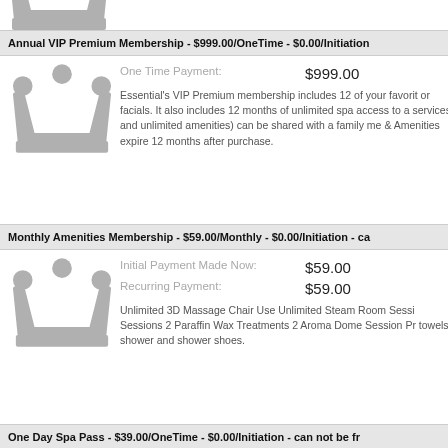[Figure (illustration): Gray crown icon, partially cropped at top of page]
Annual VIP Premium Membership - $999.00/OneTime - $0.00/Initiation
[Figure (illustration): Gray crown icon for Annual VIP Premium Membership]
One Time Payment: $999.00
Essential's VIP Premium membership includes 12 of your favorite or facials. It also includes 12 months of unlimited spa access to a services and unlimited amenities) can be shared with a family me & Amenities expire 12 months after purchase.
Monthly Amenities Membership - $59.00/Monthly - $0.00/Initiation - ca
[Figure (illustration): Gray crown icon for Monthly Amenities Membership]
Initial Payment Made Now: $59.00
Recurring Payment: $59.00
Unlimited 3D Massage Chair Use Unlimited Steam Room Sessi Sessions 2 Paraffin Wax Treatments 2 Aroma Dome Session Pr towels, shower and shower shoes.
One Day Spa Pass - $39.00/OneTime - $0.00/Initiation - can not be fr